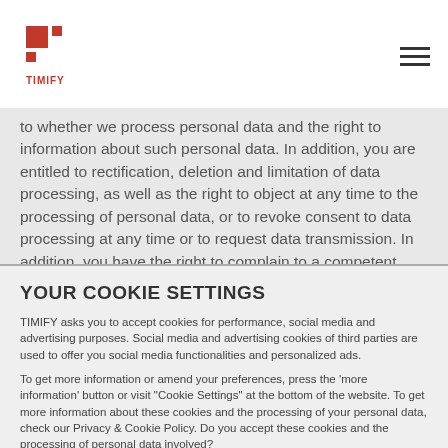TIMIFY logo and navigation menu
to whether we process personal data and the right to information about such personal data. In addition, you are entitled to rectification, deletion and limitation of data processing, as well as the right to object at any time to the processing of personal data, or to revoke consent to data processing at any time or to request data transmission. In addition, you have the right to complain to a competent
YOUR COOKIE SETTINGS
TIMIFY asks you to accept cookies for performance, social media and advertising purposes. Social media and advertising cookies of third parties are used to offer you social media functionalities and personalized ads.
To get more information or amend your preferences, press the 'more information' button or visit "Cookie Settings" at the bottom of the website. To get more information about these cookies and the processing of your personal data, check our Privacy & Cookie Policy. Do you accept these cookies and the processing of personal data involved?
YES, I ACCEPT | MORE INFORMATION